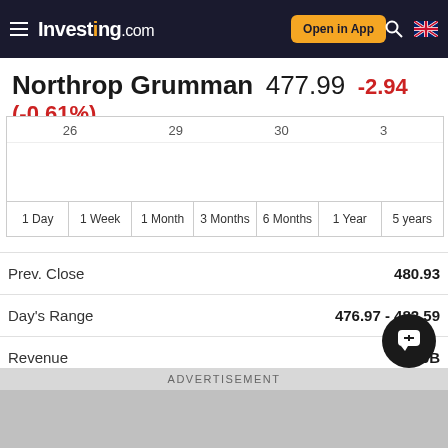Investing.com | Open in App
Northrop Grumman 477.99 -2.94 (-0.61%)
[Figure (other): Stock price chart with date labels 26, 29, 30, 3 and time period tabs: 1 Day, 1 Week, 1 Month, 3 Months, 6 Months, 1 Year, 5 years]
| Label | Value |
| --- | --- |
| Prev. Close | 480.93 |
| Day's Range | 476.97 - 482.59 |
| Revenue | 34.96B |
| Open |  |
| 52 wk Range | 344... |
ADVERTISEMENT